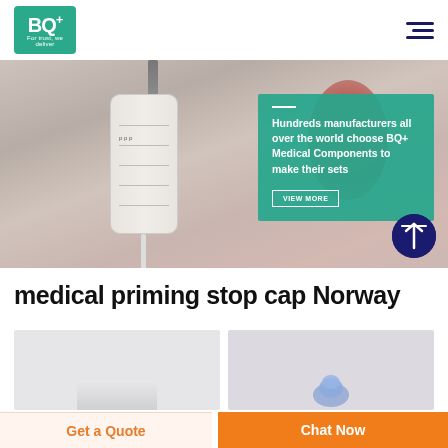[Figure (logo): BQ+ logo on teal/green background with tagline 'For trust, we deliver']
[Figure (photo): Hero banner showing close-up of medical IV drip chamber with blurred red background, overlaid with teal text box reading 'Hundreds manufacturers all over the world choose BQ+ Medical Components to make their sets' and a VIEW MORE button]
medical priming stop cap Norway
[Figure (photo): Left product thumbnail – light grey background, partial white medical component visible at bottom]
[Figure (photo): Right product thumbnail – light grey/purple background, blue translucent medical priming stop cap component visible]
Get a Quote
Chat Now